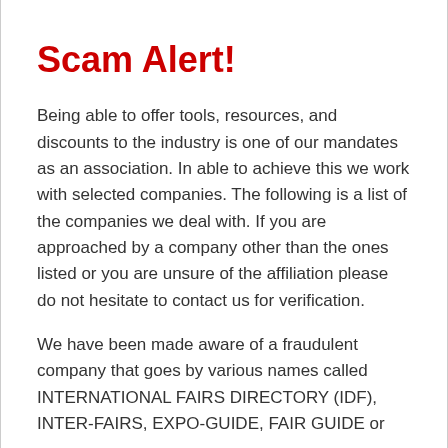Scam Alert!
Being able to offer tools, resources, and discounts to the industry is one of our mandates as an association. In able to achieve this we work with selected companies. The following is a list of the companies we deal with. If you are approached by a company other than the ones listed or you are unsure of the affiliation please do not hesitate to contact us for verification.
We have been made aware of a fraudulent company that goes by various names called INTERNATIONAL FAIRS DIRECTORY (IDF), INTER-FAIRS, EXPO-GUIDE, FAIR GUIDE or